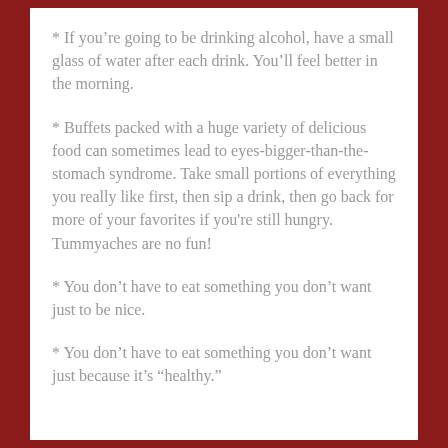* If you're going to be drinking alcohol, have a small glass of water after each drink. You'll feel better in the morning.
* Buffets packed with a huge variety of delicious food can sometimes lead to eyes-bigger-than-the-stomach syndrome. Take small portions of everything you really like first, then sip a drink, then go back for more of your favorites if you're still hungry. Tummyaches are no fun!
* You don't have to eat something you don't want just to be nice.
* You don't have to eat something you don't want just because it's “healthy.”